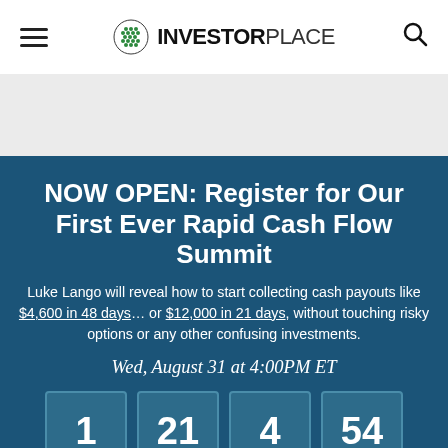InvestorPlace
[Figure (other): Gray advertisement banner area]
NOW OPEN: Register for Our First Ever Rapid Cash Flow Summit
Luke Lango will reveal how to start collecting cash payouts like $4,600 in 48 days… or $12,000 in 21 days, without touching risky options or any other confusing investments.
Wed, August 31 at 4:00PM ET
[Figure (other): Countdown timer showing 1 day, 21 hours, 4 minutes, 54 seconds]